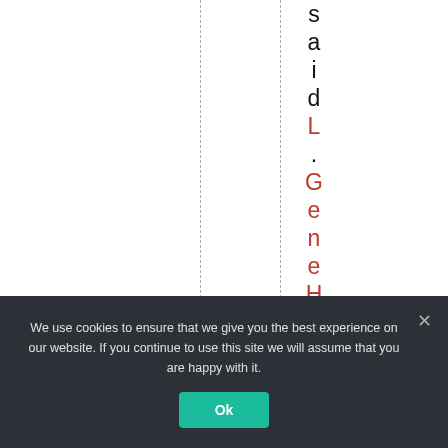saidL.GeneHenry,th
We use cookies to ensure that we give you the best experience on our website. If you continue to use this site we will assume that you are happy with it. Ok